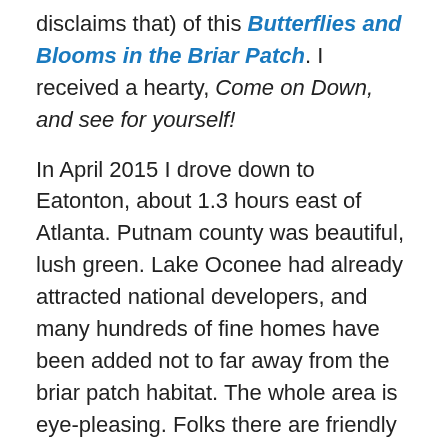disclaims that) of this Butterflies and Blooms in the Briar Patch. I received a hearty, Come on Down, and see for yourself!
In April 2015 I drove down to Eatonton, about 1.3 hours east of Atlanta. Putnam county was beautiful, lush green. Lake Oconee had already attracted national developers, and many hundreds of fine homes have been added not to far away from the briar patch habitat. The whole area is eye-pleasing. Folks there are friendly and pleasant. I visited 3 more times in 2015, and every visit was the same, positive, upbeat.
Virginia C. Linch is that Founder, unflappable, hard-working and a magnet for the project, attracting people in the community to weed, plow, bulldoze, construct, plant and donate botany.